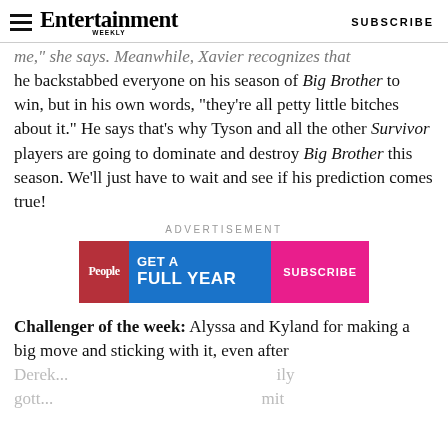Entertainment Weekly — SUBSCRIBE
me," she says. Meanwhile, Xavier recognizes that he backstabbed everyone on his season of Big Brother to win, but in his own words, "they're all petty little bitches about it." He says that's why Tyson and all the other Survivor players are going to dominate and destroy Big Brother this season. We'll just have to wait and see if his prediction comes true!
ADVERTISEMENT
[Figure (other): Advertisement banner for People magazine subscription: GET A FULL YEAR with SUBSCRIBE button]
Challenger of the week: Alyssa and Kyland for making a big move and sticking with it, even after Derek...